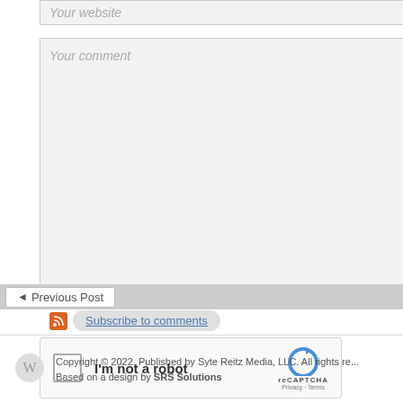[Figure (screenshot): Website input field with placeholder text 'Your website']
[Figure (screenshot): Comment textarea with placeholder text 'Your comment']
[Figure (screenshot): RSS icon and Subscribe to comments button]
[Figure (screenshot): reCAPTCHA widget with checkbox labeled 'I'm not a robot']
[Figure (screenshot): Previous Post navigation button on gray bar]
Copyright © 2022. Published by Syte Reitz Media, LLC. All rights re... Based on a design by SRS Solutions